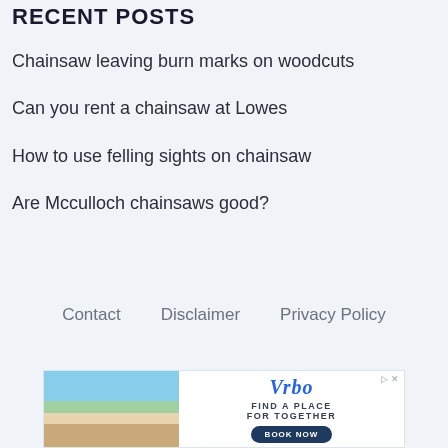RECENT POSTS
Chainsaw leaving burn marks on woodcuts
Can you rent a chainsaw at Lowes
How to use felling sights on chainsaw
Are Mcculloch chainsaws good?
Contact    Disclaimer    Privacy Policy
[Figure (photo): Advertisement banner for Vrbo showing children sitting by a pool with text FIND A PLACE FOR TOGETHER and a BOOK NOW button]